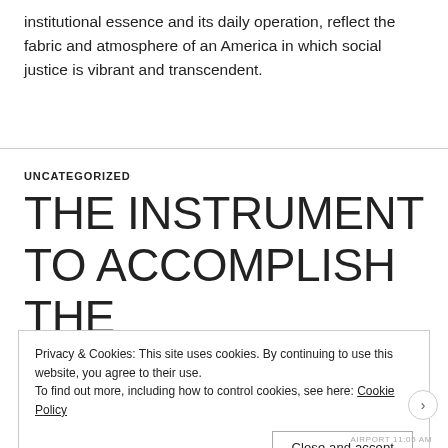institutional essence and its daily operation, reflect the fabric and atmosphere of an America in which social justice is vibrant and transcendent.
UNCATEGORIZED
THE INSTRUMENT TO ACCOMPLISH THE REUNIFICATION OF
Privacy & Cookies: This site uses cookies. By continuing to use this website, you agree to their use.
To find out more, including how to control cookies, see here: Cookie Policy
Close and accept